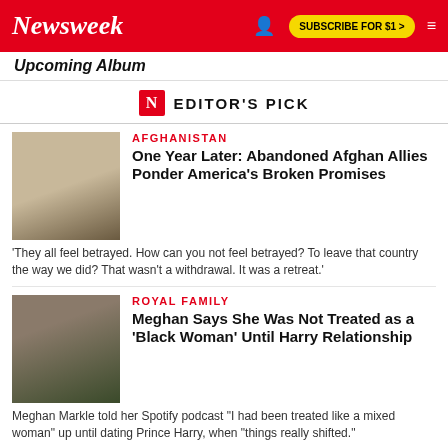Newsweek | SUBSCRIBE FOR $1
Upcoming Album
EDITOR'S PICK
AFGHANISTAN
One Year Later: Abandoned Afghan Allies Ponder America's Broken Promises
'They all feel betrayed. How can you not feel betrayed? To leave that country the way we did? That wasn't a withdrawal. It was a retreat.'
ROYAL FAMILY
Meghan Says She Was Not Treated as a 'Black Woman' Until Harry Relationship
Meghan Markle told her Spotify podcast "I had been treated like a mixed woman" up until dating Prince Harry, when "things really shifted."
PAUL RYAN